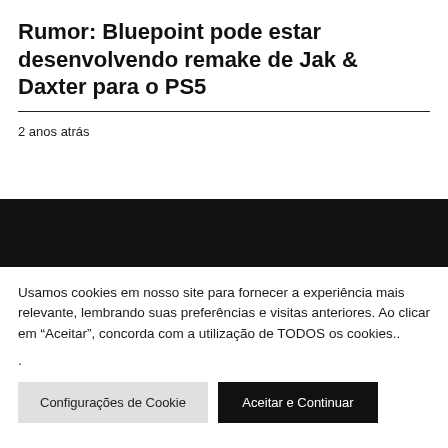Rumor: Bluepoint pode estar desenvolvendo remake de Jak & Daxter para o PS5
2 anos atrás
[Figure (other): Black decorative bar spanning full width]
Usamos cookies em nosso site para fornecer a experiência mais relevante, lembrando suas preferências e visitas anteriores. Ao clicar em "Aceitar", concorda com a utilização de TODOS os cookies..
.
Configurações de Cookie   Aceitar e Continuar